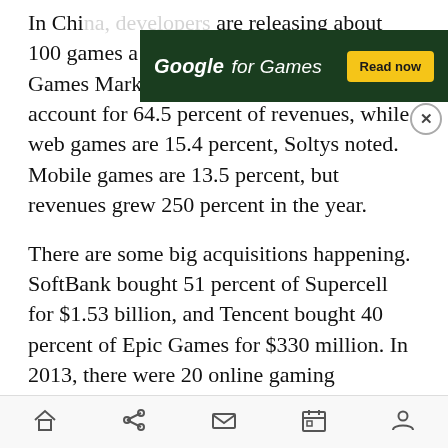In China, developers are releasing about 100 games a day, according to GPC China Games Market Report. PC client games still account for 64.5 percent of revenues, while web games are 15.4 percent, Soltys noted. Mobile games are 13.5 percent, but revenues grew 250 percent in the year.
[Figure (screenshot): Google for Games advertisement banner with dark green background, white text 'Google for Games', yellow 'Read now' button, and a close (X) button]
There are some big acquisitions happening. SoftBank bought 51 percent of Supercell for $1.53 billion, and Tencent bought 40 percent of Epic Games for $330 million. In 2013, there were 20 online gaming acquisitions and 12 mobile game deals. The total value of M&A in Chinese games in 2013 was $3.1 billion, according